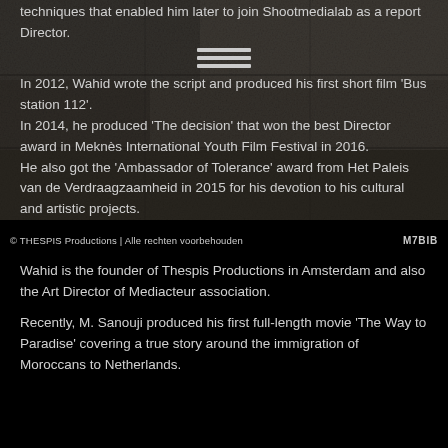[Figure (photo): Dark stone background texture visible at top portion of page]
techniques that enabled him later to join Shootmedialab as a report Director.
In 2012, Wahid wrote the script and produced his first short film 'Bus station 112'. In 2014, he produced 'The decision' that won the best Director award in Meknès International Youth Film Festival in 2016. He also got the 'Ambassador of Tolerance' award from Het Paleis van de Verdraagzaamheid in 2015 for his devotion to his cultural and artistic projects.
© THESPIS Productions | Alle rechten voorbehouden M7BIB
Wahid is the founder of Thespis Productions in Amsterdam and also the Art Director of Mediacteur association.
Recently, M. Sanouji produced his first full-length movie 'The Way to Paradise' covering a true story around the immigration of Moroccans to Netherlands.